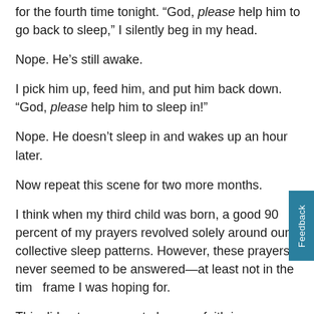for the fourth time tonight. “God, please help him to go back to sleep,” I silently beg in my head.
Nope. He’s still awake.
I pick him up, feed him, and put him back down. “God, please help him to sleep in!”
Nope. He doesn’t sleep in and wakes up an hour later.
Now repeat this scene for two more months.
I think when my third child was born, a good 90 percent of my prayers revolved solely around our collective sleep patterns. However, these prayers never seemed to be answered—at least not in the time frame I was hoping for.
This did not cause me to lose my faith in prayer or the power of prayer, but it did cause me to reflect on how I could improve my prayers to ask for things that God is more able to answer.